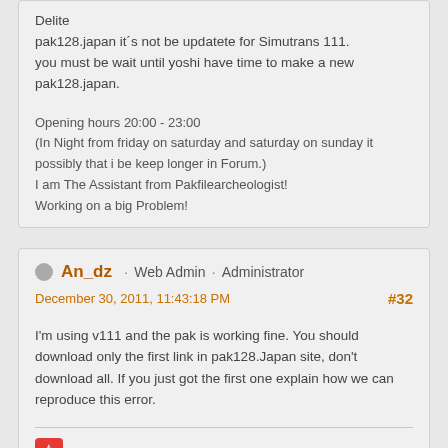Delite
pak128.japan it´s not be updatete for Simutrans 111.
you must be wait until yoshi have time to make a new pak128.japan.
Opening hours 20:00 - 23:00
(In Night from friday on saturday and saturday on sunday it possibly that i be keep longer in Forum.)
I am The Assistant from Pakfilearcheologist!
Working on a big Problem!
An_dz · Web Admin · Administrator
December 30, 2011, 11:43:18 PM
#32
I'm using v111 and the pak is working fine. You should download only the first link in pak128.Japan site, don't download all. If you just got the first one explain how we can reproduce this error.
I browse with Vivaldi